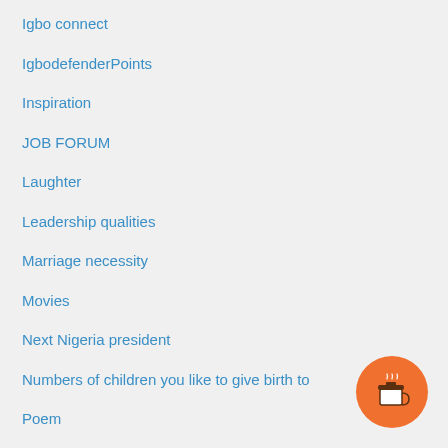Igbo connect
IgbodefenderPoints
Inspiration
JOB FORUM
Laughter
Leadership qualities
Marriage necessity
Movies
Next Nigeria president
Numbers of children you like to give birth to
Poem
Prayer Points
Preferably movies
Proverbs
Public school or private
[Figure (illustration): Orange circle button with a coffee cup icon (Buy Me a Coffee widget)]